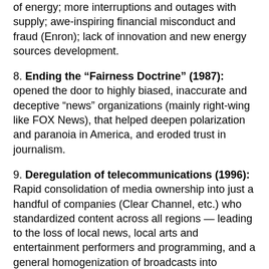of energy; more interruptions and outages with supply; awe-inspiring financial misconduct and fraud (Enron); lack of innovation and new energy sources development.
8. Ending the “Fairness Doctrine” (1987): opened the door to highly biased, inaccurate and deceptive “news” organizations (mainly right-wing like FOX News), that helped deepen polarization and paranoia in America, and eroded trust in journalism.
9. Deregulation of telecommunications (1996): Rapid consolidation of media ownership into just a handful of companies (Clear Channel, etc.) who standardized content across all regions — leading to the loss of local news, local arts and entertainment performers and programming, and a general homogenization of broadcasts into identical, nationwide programs that, consequently, homogenized thought across America as well. The 1996 Telecommunications Act deregulating cable also led to